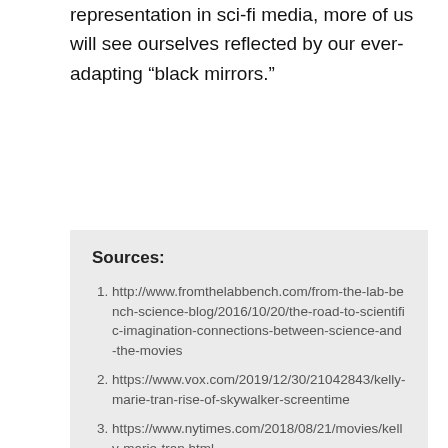representation in sci-fi media, more of us will see ourselves reflected by our ever-adapting “black mirrors.”
Sources:
http://www.fromthelabbench.com/from-the-lab-bench-science-blog/2016/10/20/the-road-to-scientific-imagination-connections-between-science-and-the-movies
https://www.vox.com/2019/12/30/21042843/kelly-marie-tran-rise-of-skywalker-screentime
https://www.nytimes.com/2018/08/21/movies/kelly-marie-tran.html
https://womenandhollywood.com/study-